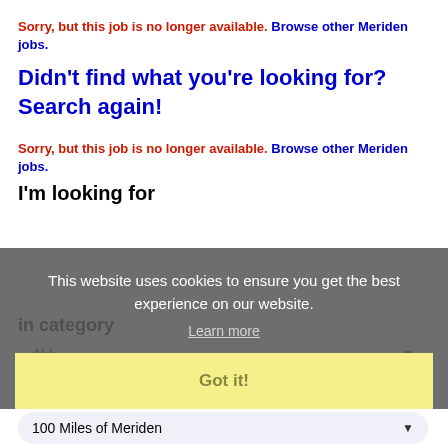Sorry, but this job is no longer available. Browse other Meriden jobs.
Didn't find what you're looking for? Search again!
Sorry, but this job is no longer available. Browse other Meriden jobs.
I'm looking for
This website uses cookies to ensure you get the best experience on our website.
Learn more
Got it!
in category
ALL
within
100 Miles of Meriden